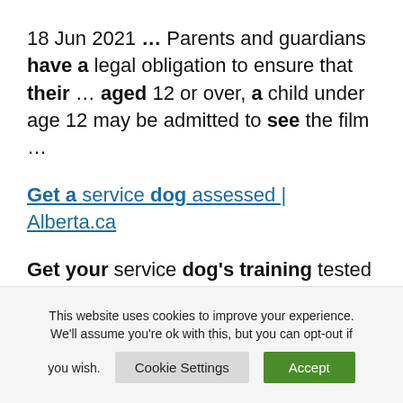18 Jun 2021 … Parents and guardians have a legal obligation to ensure that their … aged 12 or over, a child under age 12 may be admitted to see the film …
Get a service dog assessed | Alberta.ca
Get your service dog's training tested to see if they are qualified to access public places with you.
This website uses cookies to improve your experience. We'll assume you're ok with this, but you can opt-out if you wish.